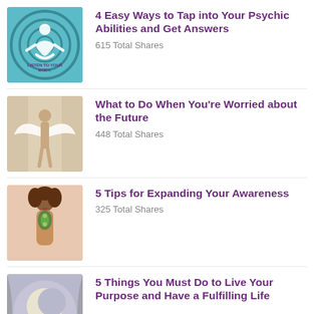4 Easy Ways to Tap into Your Psychic Abilities and Get Answers
615 Total Shares
What to Do When You're Worried about the Future
448 Total Shares
5 Tips for Expanding Your Awareness
325 Total Shares
5 Things You Must Do to Live Your Purpose and Have a Fulfilling Life